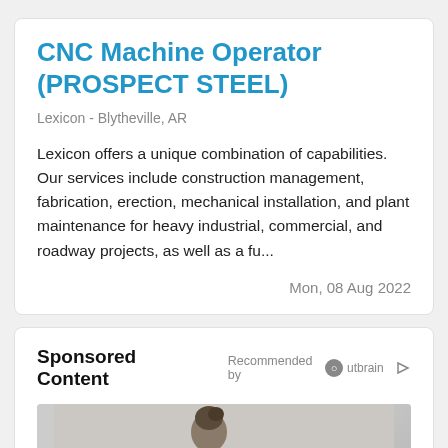CNC Machine Operator (PROSPECT STEEL)
Lexicon - Blytheville, AR
Lexicon offers a unique combination of capabilities. Our services include construction management, fabrication, erection, mechanical installation, and plant maintenance for heavy industrial, commercial, and roadway projects, as well as a fu...
Mon, 08 Aug 2022
Sponsored Content
Recommended by Outbrain
[Figure (photo): Sponsored content image showing a person, partially visible, light background]